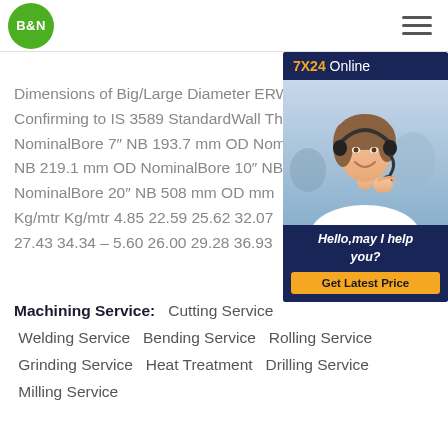B&N
Dimensions of Big/Large Diameter ERW Confirming to IS 3589 StandardWall Thickness NominalBore 7" NB 193.7 mm OD NominalBore NB 219.1 mm OD NominalBore 10" NB NominalBore 20" NB 508 mm OD mm Kg/mtr Kg/mtr 4.85 22.59 25.62 32.07 27.43 34.34 – 5.60 26.00 29.28 36.93
[Figure (photo): Customer service representative wearing a headset, smiling. Chat widget with '7X24 Online' header, photo, 'Hello, may I help you?' text, and 'Get Latest Price' button.]
Machining Service:   Cutting Service   Welding Service   Bending Service   Rolling Service   Grinding Service   Heat Treatment   Drilling Service   Milling Service